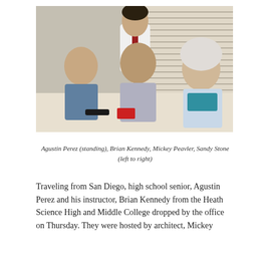[Figure (photo): Four people posed in an office setting with window blinds in the background. One young man is standing behind three seated individuals: two men and an older woman with curly white hair and glasses. The standing man wears a white shirt and red tie.]
Agustin Perez (standing), Brian Kennedy, Mickey Peavler, Sandy Stone (left to right)
Traveling from San Diego, high school senior, Agustin Perez and his instructor, Brian Kennedy from the Heath Science High and Middle College dropped by the office on Thursday. They were hosted by architect, Mickey